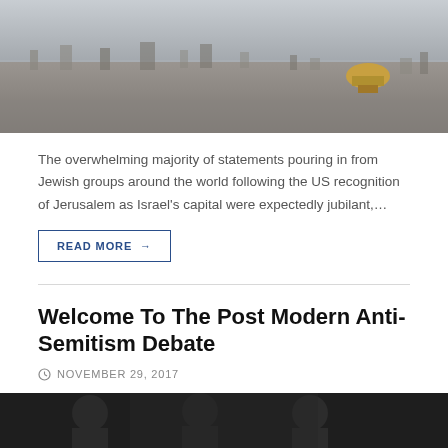[Figure (photo): Aerial panoramic view of Jerusalem cityscape with Dome of the Rock visible on the right side, hazy sky in background]
The overwhelming majority of statements pouring in from Jewish groups around the world following the US recognition of Jerusalem as Israel's capital were expectedly jubilant,…
READ MORE →
Welcome To The Post Modern Anti-Semitism Debate
NOVEMBER 29, 2017
[Figure (photo): Photo of people at a debate or panel discussion, dark background]